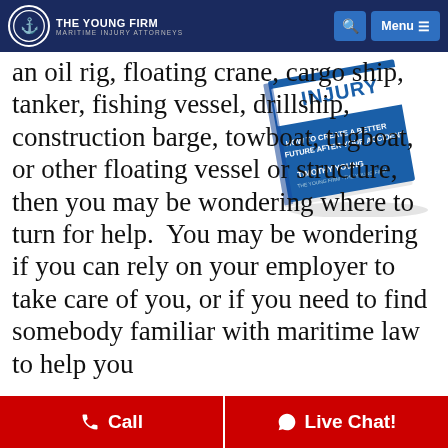The Young Firm — Maritime Injury Attorneys
[Figure (photo): Book cover: 'Maritime Injury - How to Create a Better Future After Your Accident' by Timothy Young]
an oil rig, floating crane, cargo ship, tanker, fishing vessel, drillship, construction barge, towboat, tugboat, or other floating vessel or structure, then you may be wondering where to turn for help.  You may be wondering if you can rely on your employer to take care of you, or if you need to find somebody familiar with maritime law to help you
Call | Live Chat!